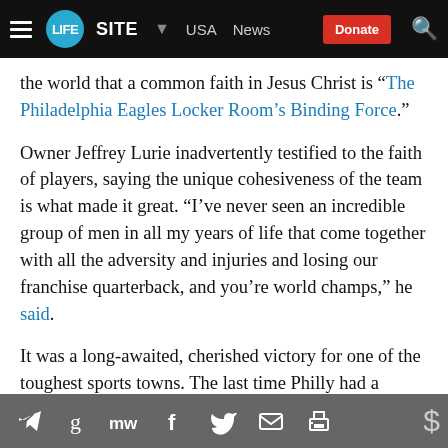LIFE SITE | USA | News | Donate
the world that a common faith in Jesus Christ is “The Philadelphia Eagles Locker Room’s Binding Force.”
Owner Jeffrey Lurie inadvertently testified to the faith of players, saying the unique cohesiveness of the team is what made it great. “I’ve never seen an incredible group of men in all my years of life that come together with all the adversity and injuries and losing our franchise quarterback, and you’re world champs,” he said.
It was a long-awaited, cherished victory for one of the toughest sports towns. The last time Philly had a championship football team was 1960, before the Super Bowl was even played between the then well
Social sharing icons: Telegram, Google, MW, Facebook, Twitter, Email, Print | Donate